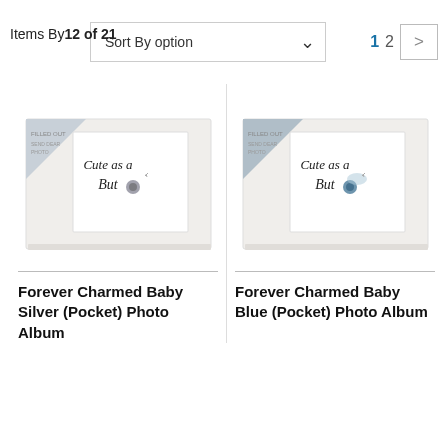Items By 12 of 21
Sort By option
1 2 >
[Figure (photo): Forever Charmed Baby Silver (Pocket) Photo Album product image showing a white album with 'Cute as a Button' label]
Forever Charmed Baby Silver (Pocket) Photo Album
[Figure (photo): Forever Charmed Baby Blue (Pocket) Photo Album product image showing a white album with 'Cute as a Button' label]
Forever Charmed Baby Blue (Pocket) Photo Album